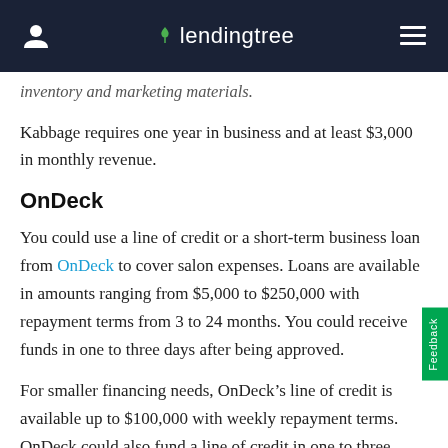lendingtree
inventory and marketing materials.
Kabbage requires one year in business and at least $3,000 in monthly revenue.
OnDeck
You could use a line of credit or a short-term business loan from OnDeck to cover salon expenses. Loans are available in amounts ranging from $5,000 to $250,000 with repayment terms from 3 to 24 months. You could receive funds in one to three days after being approved.
For smaller financing needs, OnDeck’s line of credit is available up to $100,000 with weekly repayment terms. OnDeck could also fund a line of credit in one to three